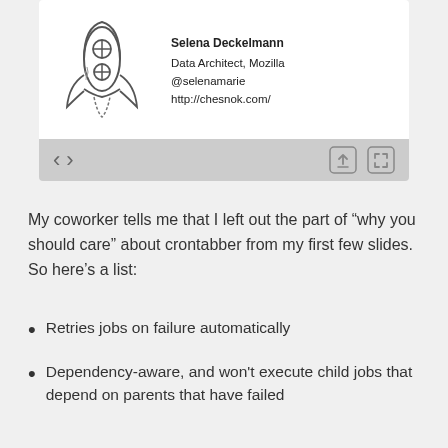[Figure (screenshot): Slide screenshot showing a rocket ship illustration and presenter info: Selena Deckelmann, Data Architect, Mozilla, @selenamarie, http://chesnok.com/, with slide navigation controls]
My coworker tells me that I left out the part of “why you should care” about crontabber from my first few slides. So here’s a list:
Retries jobs on failure automatically
Dependency-aware, and won't execute child jobs that depend on parents that have failed
Nagios integration including support for WARNINGs and CRITICALs, and configurable escalation from WARNING to CRITICAL (so S...